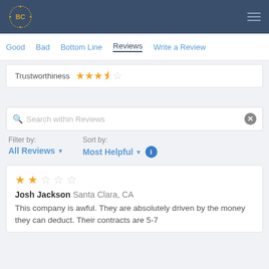[Figure (logo): BC logo in golden wreath circle on dark blue header background]
Good  Bad  Bottom Line  Reviews  Write a Review
Trustworthiness ★★★½☆
Search within Reviews
Filter by: All Reviews ▾    Sort by: Most Helpful ▾ ℹ
★★☆☆☆ Josh Jackson  Santa Clara, CA
This company is awful. They are absolutely driven by the money they can deduct. Their contracts are 5-7